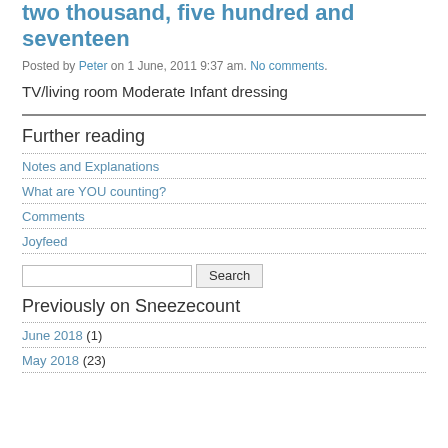two thousand, five hundred and seventeen
Posted by Peter on 1 June, 2011 9:37 am. No comments.
TV/living room Moderate Infant dressing
Further reading
Notes and Explanations
What are YOU counting?
Comments
Joyfeed
Previously on Sneezecount
June 2018 (1)
May 2018 (23)